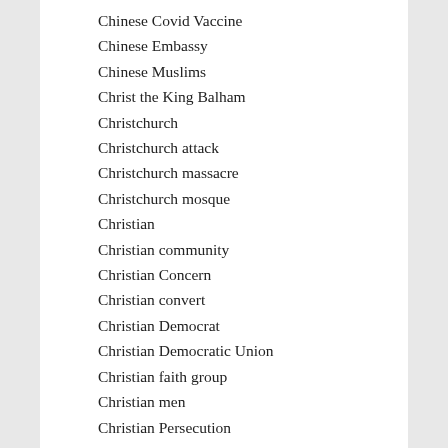Chinese Covid Vaccine
Chinese Embassy
Chinese Muslims
Christ the King Balham
Christchurch
Christchurch attack
Christchurch massacre
Christchurch mosque
Christian
Christian community
Christian Concern
Christian convert
Christian Democrat
Christian Democratic Union
Christian faith group
Christian men
Christian Persecution